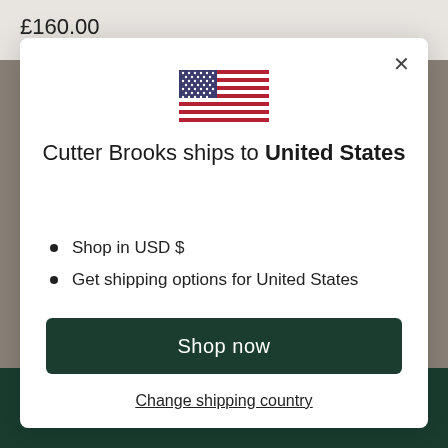£160.00
[Figure (illustration): US flag emoji/icon displayed at top center of modal dialog]
Cutter Brooks ships to United States
Shop in USD $
Get shipping options for United States
Shop now
Change shipping country